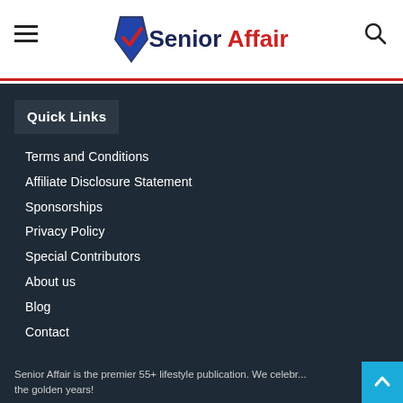[Figure (logo): Senior Affair website logo with checkmark icon, 'Senior' in dark navy bold and 'Affair' in red bold]
Quick Links
Terms and Conditions
Affiliate Disclosure Statement
Sponsorships
Privacy Policy
Special Contributors
About us
Blog
Contact
Senior Affair is the premier 55+ lifestyle publication. We celebr... the golden years!